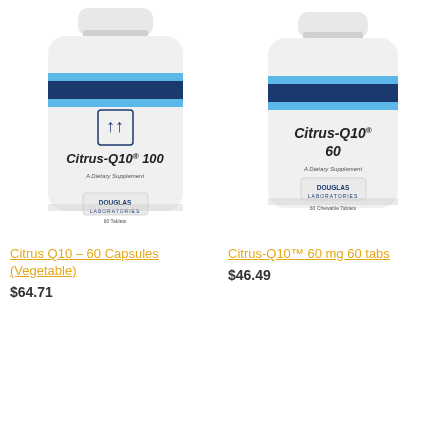[Figure (photo): Douglas Laboratories Citrus-Q10 100 supplement bottle, white with blue label band]
[Figure (photo): Douglas Laboratories Citrus-Q10 60 supplement bottle, white with blue label band]
Citrus Q10 – 60 Capsules (Vegetable)
$64.71
Citrus-Q10™ 60 mg 60 tabs
$46.49